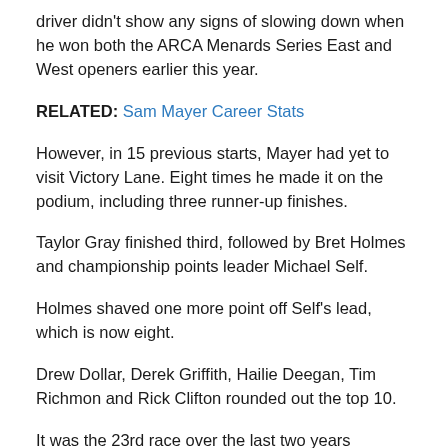driver didn't show any signs of slowing down when he won both the ARCA Menards Series East and West openers earlier this year.
RELATED: Sam Mayer Career Stats
However, in 15 previous starts, Mayer had yet to visit Victory Lane. Eight times he made it on the podium, including three runner-up finishes.
Taylor Gray finished third, followed by Bret Holmes and championship points leader Michael Self.
Holmes shaved one more point off Self's lead, which is now eight.
Drew Dollar, Derek Griffith, Hailie Deegan, Tim Richmon and Rick Clifton rounded out the top 10.
It was the 23rd race over the last two years between the ARCA Menards, East and West series that Mayer